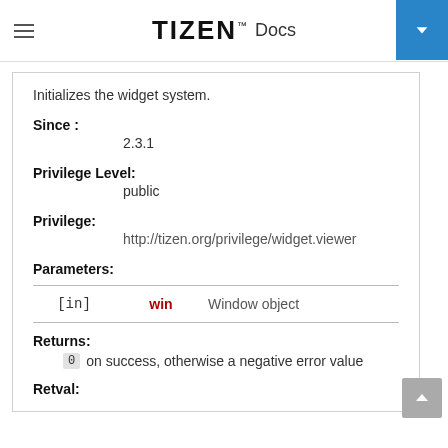TIZEN Docs
Initializes the widget system.
Since :
2.3.1
Privilege Level:
public
Privilege:
http://tizen.org/privilege/widget.viewer
Parameters:
|  | win | Window object |
| --- | --- | --- |
| [in] | win | Window object |
Returns:
0 on success, otherwise a negative error value
Retval: